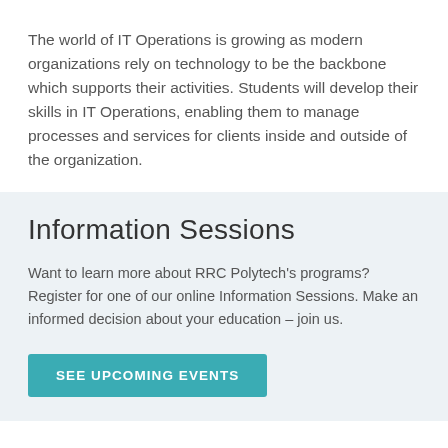The world of IT Operations is growing as modern organizations rely on technology to be the backbone which supports their activities. Students will develop their skills in IT Operations, enabling them to manage processes and services for clients inside and outside of the organization.
Information Sessions
Want to learn more about RRC Polytech's programs? Register for one of our online Information Sessions. Make an informed decision about your education – join us.
SEE UPCOMING EVENTS